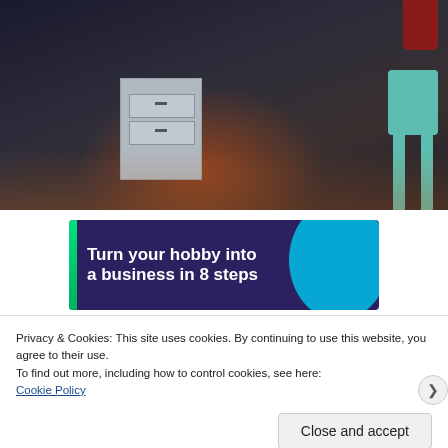[Figure (photo): Photo of a room interior with dark floor, a white painted dresser/cabinet, a teal-colored chair or easel on the right, and warm orange glow on the floor. A red object is visible in the top right corner.]
[Figure (infographic): Advertisement banner with dark purple background and teal circle accent reading 'Turn your hobby into a business in 8 steps']
Privacy & Cookies: This site uses cookies. By continuing to use this website, you agree to their use.
To find out more, including how to control cookies, see here:
Cookie Policy
Close and accept